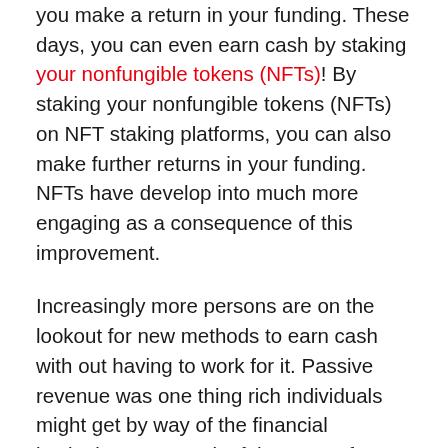you make a return in your funding. These days, you can even earn cash by staking your nonfungible tokens (NFTs)! By staking your nonfungible tokens (NFTs) on NFT staking platforms, you can also make further returns in your funding. NFTs have develop into much more engaging as a consequence of this improvement.
Increasingly more persons are on the lookout for new methods to earn cash with out having to work for it. Passive revenue was one thing rich individuals might get by way of the financial institution as a result of the rates of interest on financial savings accounts had been fairly excessive. These days, you hardly obtain any curiosity in your cash within the financial institution; in some circumstances, you even must pay to your financial savings! As a result of comparatively excessive rewards for staking cryptocurrencies and NFTs, a new-age different has been discovered.